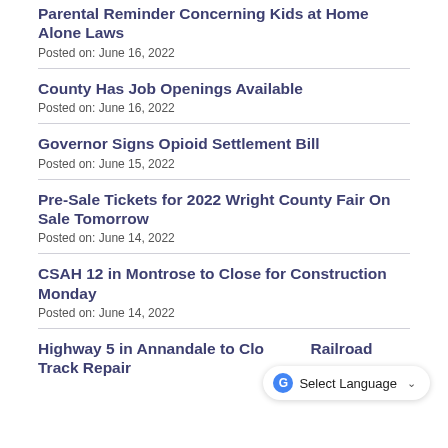Parental Reminder Concerning Kids at Home Alone Laws
Posted on: June 16, 2022
County Has Job Openings Available
Posted on: June 16, 2022
Governor Signs Opioid Settlement Bill
Posted on: June 15, 2022
Pre-Sale Tickets for 2022 Wright County Fair On Sale Tomorrow
Posted on: June 14, 2022
CSAH 12 in Montrose to Close for Construction Monday
Posted on: June 14, 2022
Highway 5 in Annandale to Close for Railroad Track Repair
Posted on: June 14, 2022